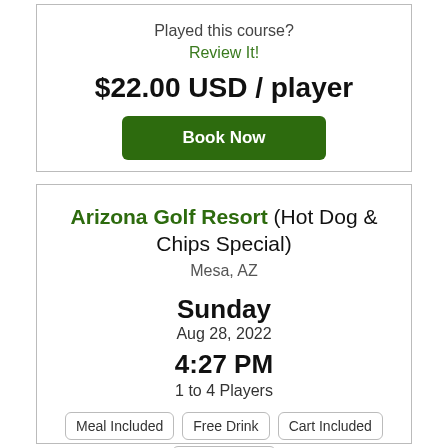Played this course?
Review It!
$22.00 USD / player
Book Now
Arizona Golf Resort (Hot Dog & Chips Special)
Mesa, AZ
Sunday
Aug 28, 2022
4:27 PM
1 to 4 Players
Meal Included
Free Drink
Cart Included
18 Hole Time